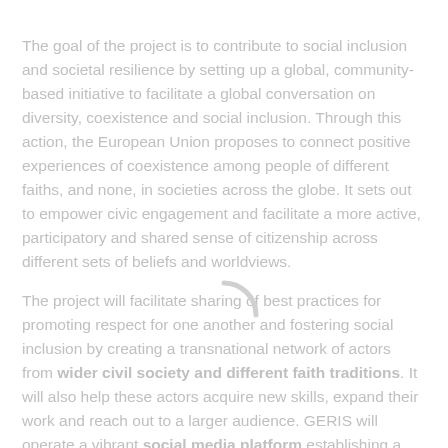The goal of the project is to contribute to social inclusion and societal resilience by setting up a global, community-based initiative to facilitate a global conversation on diversity, coexistence and social inclusion. Through this action, the European Union proposes to connect positive experiences of coexistence among people of different faiths, and none, in societies across the globe. It sets out to empower civic engagement and facilitate a more active, participatory and shared sense of citizenship across different sets of beliefs and worldviews.
[Figure (other): A loading spinner (partial circular arc) overlaid on the text, appearing between the two paragraphs.]
The project will facilitate sharing of best practices for promoting respect for one another and fostering social inclusion by creating a transnational network of actors from wider civil society and different faith traditions. It will also help these actors acquire new skills, expand their work and reach out to a larger audience. GERIS will operate a vibrant social media platform establishing a public space to communicate the project outputs and a private space for smaller groups of the participants to